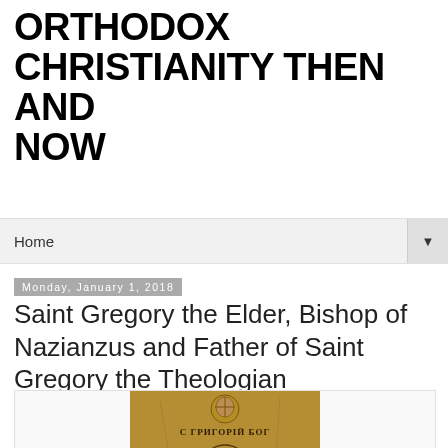ORTHODOX CHRISTIANITY THEN AND NOW
Home
Monday, January 1, 2018
Saint Gregory the Elder, Bishop of Nazianzus and Father of Saint Gregory the Theologian
[Figure (illustration): An Orthodox icon depicting Saint Gregory the Theologian, with Cyrillic text reading 'С ГРИГОРІЙ БОГ' and a halo around the saint's head on a golden background]